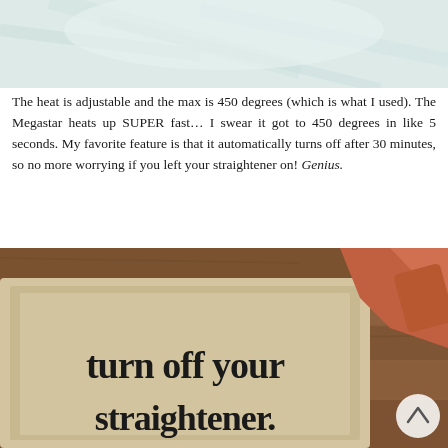[Figure (photo): Top portion of a photo showing a light-colored fabric or clothing item on a white/light surface]
The heat is adjustable and the max is 450 degrees (which is what I used). The Megastar heats up SUPER fast… I swear it got to 450 degrees in like 5 seconds. My favorite feature is that it automatically turns off after 30 minutes, so no more worrying if you left your straightener on! Genius.
[Figure (photo): A doormat on a wooden floor with text reading 'turn off your straightener.' in bold serif font, with an orange/terracotta colored bag or item in the upper right corner. A circular scroll-to-top button is visible in the lower right.]